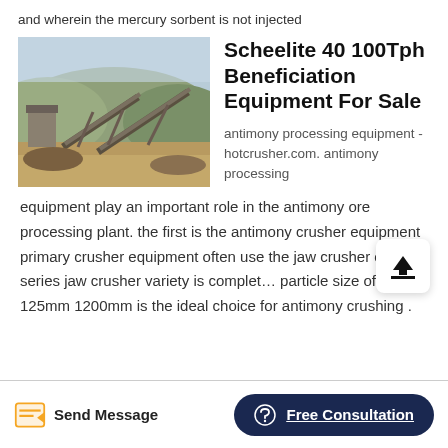and wherein the mercury sorbent is not injected
[Figure (photo): Outdoor mining/crushing facility with conveyors and machinery against a hilly background]
Scheelite 40 100Tph Beneficiation Equipment For Sale
antimony processing equipment - hotcrusher.com. antimony processing equipment play an important role in the antimony ore processing plant. the first is the antimony crusher equipment primary crusher equipment often use the jaw crusher our pe series jaw crusher variety is complete particle size of 125mm 1200mm is the ideal choice for antimony crushing .
Send Message   Free Consultation